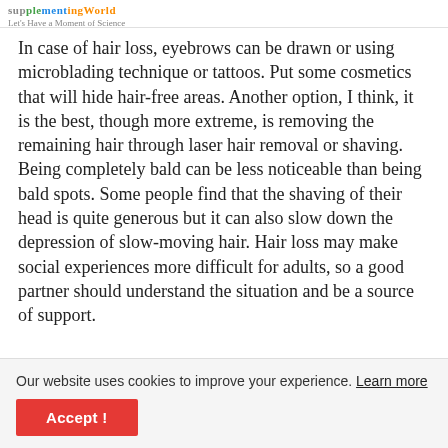supplementingworld Let's Have a Moment of Science
In case of hair loss, eyebrows can be drawn or using microblading technique or tattoos. Put some cosmetics that will hide hair-free areas. Another option, I think, it is the best, though more extreme, is removing the remaining hair through laser hair removal or shaving. Being completely bald can be less noticeable than being bald spots. Some people find that the shaving of their head is quite generous but it can also slow down the depression of slow-moving hair. Hair loss may make social experiences more difficult for adults, so a good partner should understand the situation and be a source of support.
Our website uses cookies to improve your experience. Learn more
Accept !